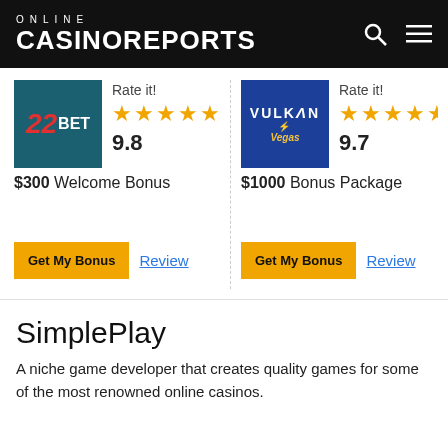ONLINE CASINOREPORTS
[Figure (logo): 22BET casino logo - teal background with red 22 and white BET text]
Rate it! 9.8
$300 Welcome Bonus
Get My Bonus  Review
[Figure (logo): Vulkan Vegas casino logo - blue background with VULKAN VEGAS text]
Rate it! 9.7
$1000 Bonus Package
Get My Bonus  Review
SimplePlay
A niche game developer that creates quality games for some of the most renowned online casinos.